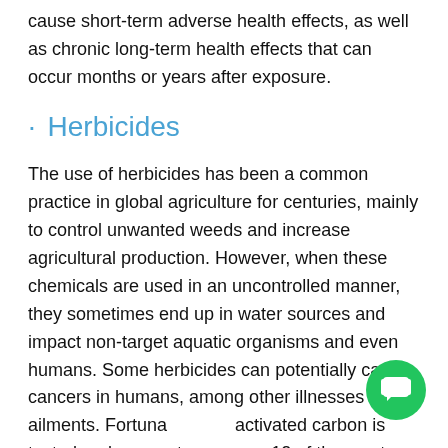cause short-term adverse health effects, as well as chronic long-term health effects that can occur months or years after exposure.
· Herbicides
The use of herbicides has been a common practice in global agriculture for centuries, mainly to control unwanted weeds and increase agricultural production. However, when these chemicals are used in an uncontrolled manner, they sometimes end up in water sources and impact non-target aquatic organisms and even humans. Some herbicides can potentially cause cancers in humans, among other illnesses and ailments. Fortunately, activated carbon is tested and proven to remove 12 of the most common herbicides, including